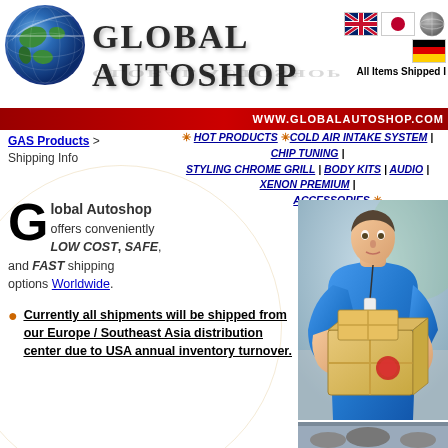[Figure (logo): Global Autoshop logo with globe and brand name, flags for UK, Japan, Germany, and globe icon with 'All Items Shipped' text]
WWW.GLOBALAUTOSHOP.COM
GAS Products > Shipping Info
HOT PRODUCTS * COLD AIR INTAKE SYSTEM | CHIP TUNING | STYLING CHROME GRILL | BODY KITS | AUDIO | XENON PREMIUM | ACCESSORIES *
Global Autoshop offers conveniently LOW COST, SAFE, and FAST shipping options Worldwide.
Currently all shipments will be shipped from our Europe / Southeast Asia distribution center due to USA annual inventory turnover.
[Figure (photo): Delivery person in blue shirt holding cardboard boxes]
[Figure (photo): Bottom strip photo, partial view]